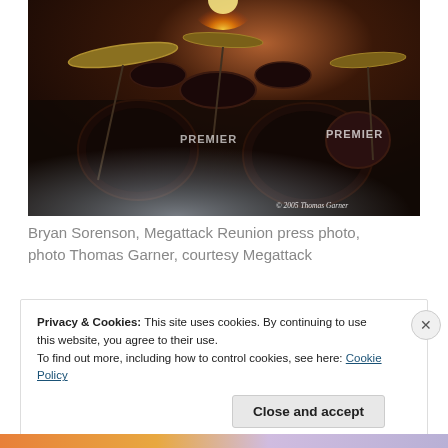[Figure (photo): Concert photo of Bryan Sorenson drumming behind a Premier drum kit, with smoke/fog on stage, flame or bright light above, dark dramatic lighting. Copyright watermark reads '© 2005 Thomas Garner'.]
Bryan Sorenson, Megattack Reunion press photo, photo Thomas Garner, courtesy Megattack
Privacy & Cookies: This site uses cookies. By continuing to use this website, you agree to their use.
To find out more, including how to control cookies, see here: Cookie Policy
Close and accept